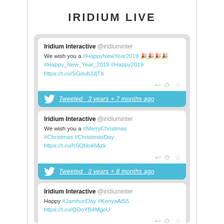IRIDIUM LIVE
Iridium Interactive @iridiuminter
We wish you a #HappyNewYear2019 🎉🎉🎉🎉 #Happy_New_Year_2019 #Happy2019 https://t.co/SGdubJJjTb
Tweeted 3 years + 7 months ago
Iridium Interactive @iridiuminter
We wish you a #MerryChristmas #Christmas #ChristmasDay https://t.co/hSQbb48Azk
Tweeted 3 years + 8 months ago
Iridium Interactive @iridiuminter
Happy #JamhuriDay #KenyaAt55 https://t.co/QDoYB4MgoU
Tweeted 3 years + 8 months ago